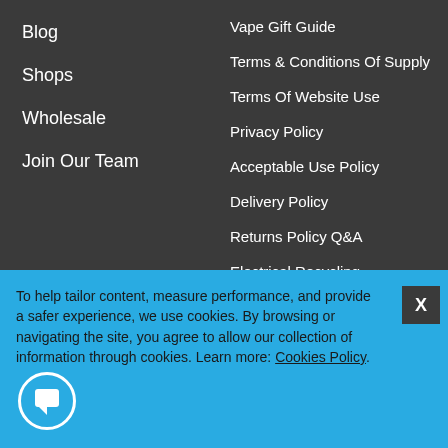Blog
Shops
Wholesale
Join Our Team
Vape Gift Guide
Terms & Conditions Of Supply
Terms Of Website Use
Privacy Policy
Acceptable Use Policy
Delivery Policy
Returns Policy Q&A
Electrical Recycling
[Figure (other): Loading placeholder image showing LOADING... text on white background]
To help tailor content, measure performance, and provide a safer experience, we use cookies. By browsing or navigating the site, you agree to allow our collection of information through cookies. Learn more: Cookies Policy.